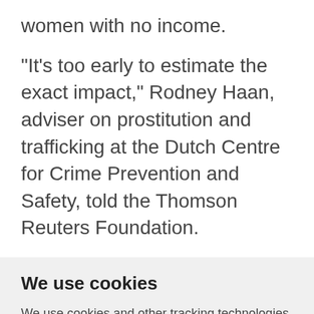women with no income.
"It's too early to estimate the exact impact," Rodney Haan, adviser on prostitution and trafficking at the Dutch Centre for Crime Prevention and Safety, told the Thomson Reuters Foundation.
We use cookies
We use cookies and other tracking technologies to improve your browsing experience on our website, to show you personalized content and targeted ads, to analyze our website traffic, and to understand where our visitors are coming from.